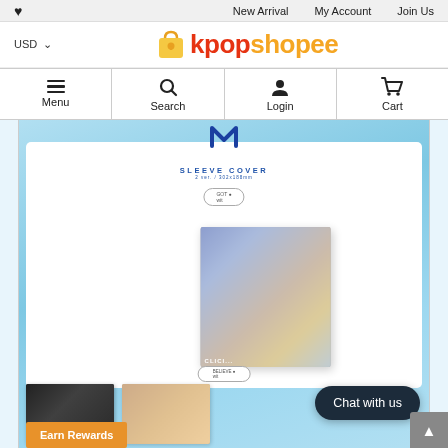❤  New Arrival  My Account  Join Us
[Figure (logo): kpopshopee logo with shopping bag icon, USD selector on left]
Menu  Search  Login  Cart
[Figure (photo): K-pop merchandise product page showing album sleeve cover with SLEEVE COVER text, round badge, blurred album photo, bottom previews of black and beige album covers, Chat with us button, and Earn Rewards banner]